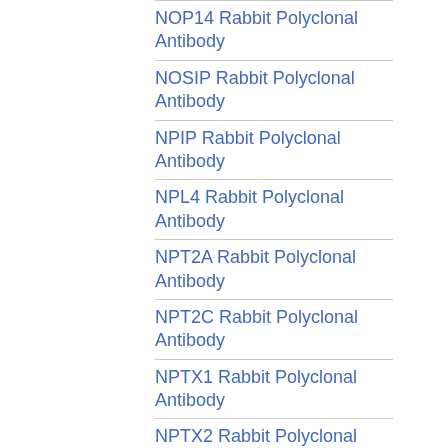NOP14 Rabbit Polyclonal Antibody
NOSIP Rabbit Polyclonal Antibody
NPIP Rabbit Polyclonal Antibody
NPL4 Rabbit Polyclonal Antibody
NPT2A Rabbit Polyclonal Antibody
NPT2C Rabbit Polyclonal Antibody
NPTX1 Rabbit Polyclonal Antibody
NPTX2 Rabbit Polyclonal Antibody
NPTXR Rabbit Polyclonal Antibody
NPW Rabbit Polyclonal Antibody
NQO2 Rabbit Polyclonal Antibody
NR0B2 Rabbit Polyclonal Antibody
NR2C2 Rabbit Polyclonal Antibody